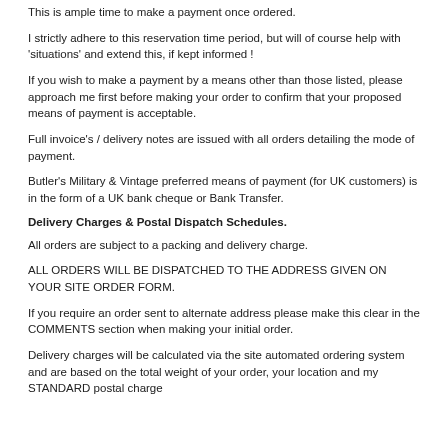This is ample time to make a payment once ordered.
I strictly adhere to this reservation time period, but will of course help with 'situations' and extend this, if kept informed !
If you wish to make a payment by a means other than those listed, please approach me first before making your order to confirm that your proposed means of payment is acceptable.
Full invoice's / delivery notes are issued with all orders detailing the mode of payment.
Butler's Military & Vintage preferred means of payment (for UK customers) is in the form of a UK bank cheque or Bank Transfer.
Delivery Charges & Postal Dispatch Schedules.
All orders are subject to a packing and delivery charge.
ALL ORDERS WILL BE DISPATCHED TO THE ADDRESS GIVEN ON YOUR SITE ORDER FORM.
If you require an order sent to alternate address please make this clear in the COMMENTS section when making your initial order.
Delivery charges will be calculated via the site automated ordering system and are based on the total weight of your order, your location and my STANDARD postal charge